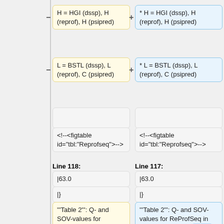H = HGI (dssp), H (reprof), H (psipred)
* H = HGI (dssp), H (reprof), H (psipred)
L = BSTL (dssp), L (reprof), C (psipred)
* L = BSTL (dssp), L (reprof), C (psipred)
<!--<figtable id="tbl:"Reprofseq">-->
<!--<figtable id="tbl:"Reprofseq">-->
Line 118:
Line 117:
|63.0
|63.0
|}
|}
'''Table 2''': Q- and SOV-values for ReProfSeq in comparison to the dssp structure.
'''Table 2''': Q- and SOV-values for ReProfSeq in comparison to the DSSP structure.
<!--</figtable>-->
<!--</figtable>-->
<!-- <figtable
<!-- <figtable